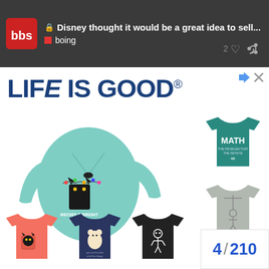Disney thought it would be a great idea to sell... boing
[Figure (screenshot): Life is Good advertisement showing multiple t-shirts including a mint green long-sleeve with Meowy & Bright cat design, a teal Math t-shirt, a gray t-shirt, coral/salmon cat t-shirt, navy blue t-shirt, black skeleton t-shirt, and blue t-shirt. Page counter shows 4/210.]